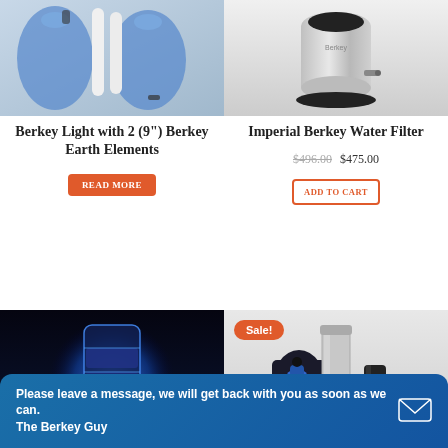[Figure (photo): Berkey Light water filter system with two white 9-inch Berkey Earth filter elements and blue water jugs]
[Figure (photo): Imperial Berkey stainless steel countertop water filter system]
Berkey Light with 2 (9") Berkey Earth Elements
Imperial Berkey Water Filter
$496.00 $475.00
READ MORE
ADD TO CART
[Figure (photo): Glowing blue Berkey water filter element illuminated against dark background]
[Figure (photo): Sport Berkey portable water filter with accessories and bag, with Sale badge]
Sale!
Please leave a message, we will get back with you as soon as we can. The Berkey Guy